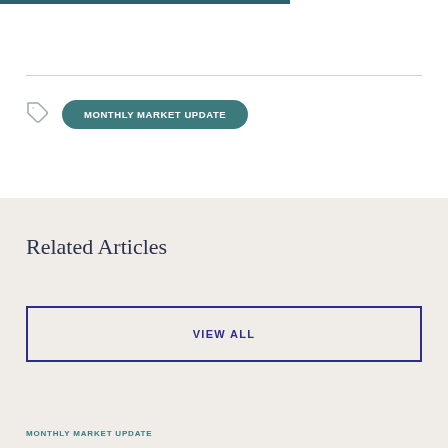MONTHLY MARKET UPDATE
Related Articles
VIEW ALL
MONTHLY MARKET UPDATE